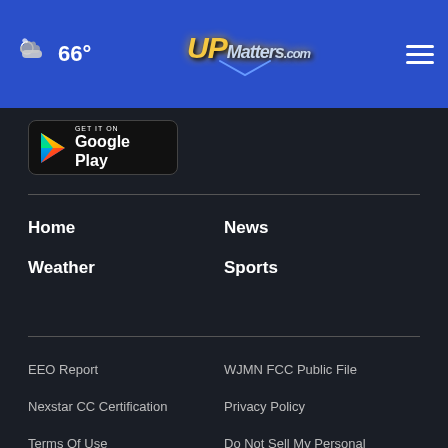66° UPMatters.com navigation menu
[Figure (screenshot): Google Play store download badge with triangular play icon on black background]
Home
News
Weather
Sports
EEO Report
WJMN FCC Public File
Nexstar CC Certification
Privacy Policy
Terms Of Use
Do Not Sell My Personal Information